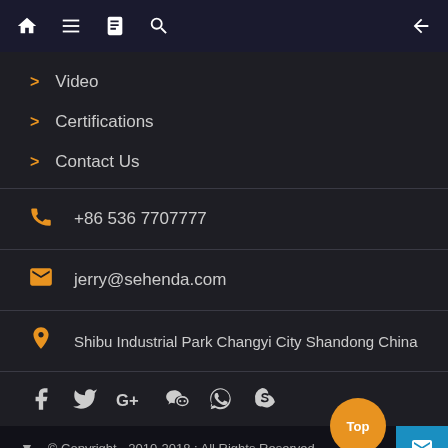Navigation bar with home, menu, book, search icons and back arrow
> Video
> Certifications
> Contact Us
+86 536 7707777
jerry@sehenda.com
Shibu Industrial Park Changyi City Shandong China
Social media icons: Facebook, Twitter, Google+, WeChat, WhatsApp, Skype
© Copyright - 2010-2018 : All Rights Reserved